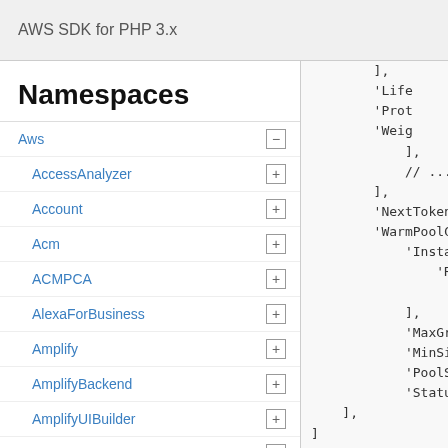AWS SDK for PHP 3.x
Namespaces
Aws
AccessAnalyzer
Account
Acm
ACMPCA
AlexaForBusiness
Amplify
AmplifyBackend
AmplifyUIBuilder
Api
ApiGateway
ApiGatewayManagementApi
[Figure (screenshot): Code snippet showing PHP array structure with keys like 'NextToken', 'WarmPoolConf', 'Instance', 'Reus', 'MaxGroup', 'MinSize', 'PoolStat', 'Status', '],', ']' and nested array elements including 'Life', 'Prot', 'Weig']